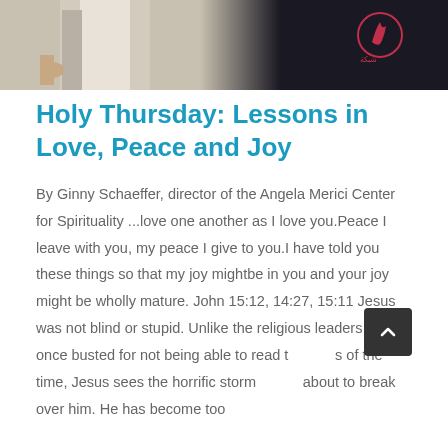[Figure (photo): Hero image showing a person in grey/white robes with a hand visible on the left side, and a logo on the right side on a dark background]
Holy Thursday: Lessons in Love, Peace and Joy
By Ginny Schaeffer, director of the Angela Merici Center for Spirituality ...love one another as I love you.Peace I leave with you, my peace I give to you.I have told you these things so that my joy mightbe in you and your joy might be wholly mature. John 15:12, 14:27, 15:11 Jesus was not blind or stupid. Unlike the religious leaders he once busted for not being able to read the signs of the time, Jesus sees the horrific storm that is about to break over him. He has become too